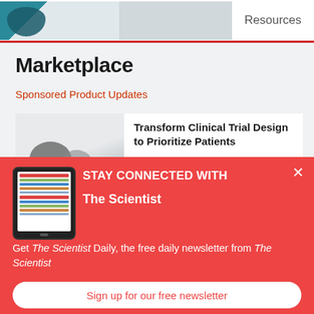[Figure (screenshot): Top banner with logo image and Resources navigation text]
Marketplace
Sponsored Product Updates
[Figure (screenshot): Content card with image placeholder and text: Transform Clinical Trial Design to Prioritize Patients]
[Figure (screenshot): Modal popup overlay with The Scientist newsletter signup. Tablet icon on left. Headline: STAY CONNECTED WITH The Scientist. Body: Get The Scientist Daily, the free daily newsletter from The Scientist. Button: Sign up for our free newsletter]